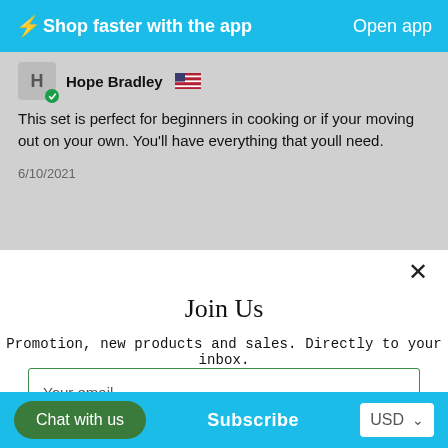⚡Shop faster with the app    Open app
Hope Bradley
This set is perfect for beginners in cooking or if your moving out on your own. You'll have everything that youll need.
6/10/2021
Join Us
Promotion, new products and sales. Directly to your inbox.
Your email
Chat with us
Subscribe
USD